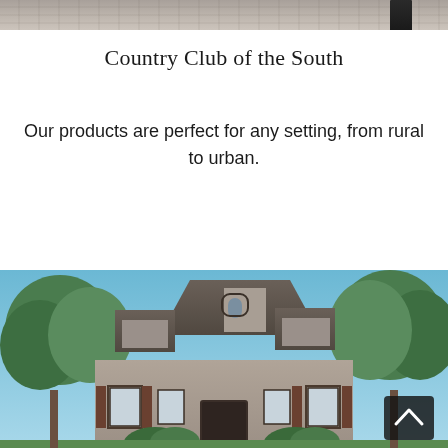[Figure (photo): Top portion of a wooden surface/floor with a dark cylindrical object visible on the right side, cropped at the top of the page.]
Country Club of the South
Our products are perfect for any setting, from rural to urban.
[Figure (photo): Photograph of a large stone and brick two-story house with multiple peaked rooflines, brown shutters, arched windows, surrounded by green trees against a blue sky. A dark scroll-up button is visible in the lower right corner of the image.]